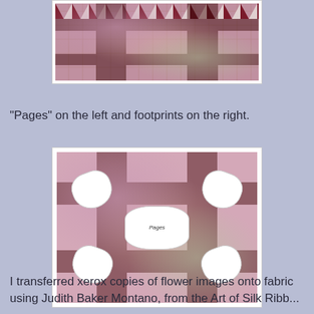[Figure (photo): Photo of a quilt showing pages on the left and footprints on the right, with zigzag border and pink/brown floral fabric.]
"Pages" on the left and footprints on the right.
[Figure (photo): Close-up photo of a quilt center block with heart-shaped pieces, floral fabric in brown and pink, and a central medallion piece with text 'Pages'.]
I transferred xerox copies of flower images onto fabric using Judith Baker Montano, from the Art of Silk Ribb...